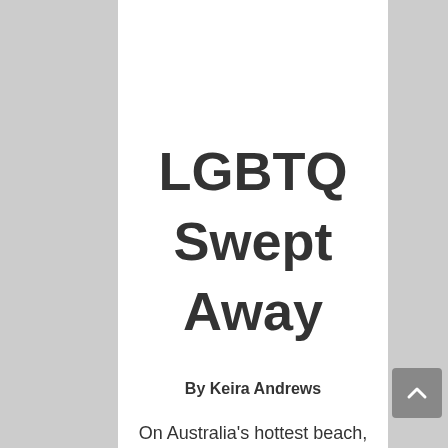LGBTQ Swept Away
By Keira Andrews
On Australia's hottest beach, a lifeguard and surfer sizzle. Barking